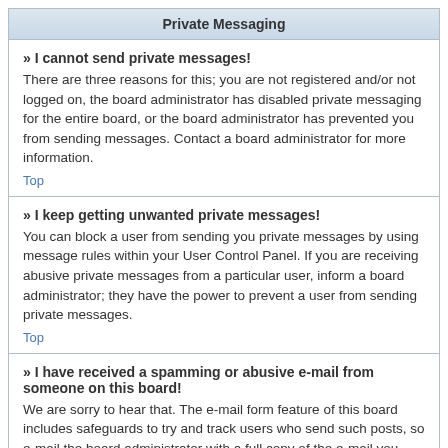Private Messaging
» I cannot send private messages!
There are three reasons for this; you are not registered and/or not logged on, the board administrator has disabled private messaging for the entire board, or the board administrator has prevented you from sending messages. Contact a board administrator for more information.
Top
» I keep getting unwanted private messages!
You can block a user from sending you private messages by using message rules within your User Control Panel. If you are receiving abusive private messages from a particular user, inform a board administrator; they have the power to prevent a user from sending private messages.
Top
» I have received a spamming or abusive e-mail from someone on this board!
We are sorry to hear that. The e-mail form feature of this board includes safeguards to try and track users who send such posts, so e-mail the board administrator with a full copy of the e-mail you received. It is very important that this includes the headers that contain the details of the user that sent the e-mail. The board administrator can then take action.